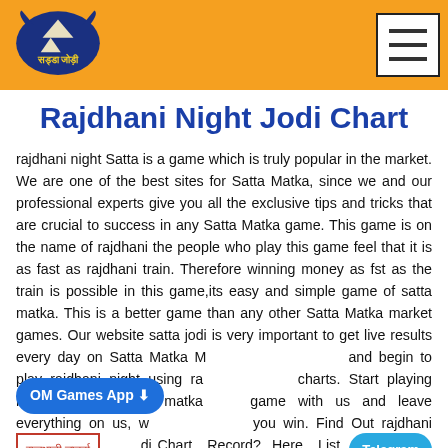सड्डा जोड़ी [logo] — navigation header with orange background and hamburger menu
Rajdhani Night Jodi Chart
rajdhani night Satta is a game which is truly popular in the market. We are one of the best sites for Satta Matka, since we and our professional experts give you all the exclusive tips and tricks that are crucial to success in any Satta Matka game. This game is on the name of rajdhani the people who play this game feel that it is as fast as rajdhani train. Therefore winning money as fst as the train is possible in this game,its easy and simple game of satta matka. This is a better game than any other Satta Matka market games. Our website satta jodi is very important to get live results every day on Satta Matka and begin to play rajdhani night using charts. Start playing rajdhani night satta matka game with us and leave everything on us, you win. Find Out rajdhani night jodi Chart, Record? Here, List Of rajdhani night result,